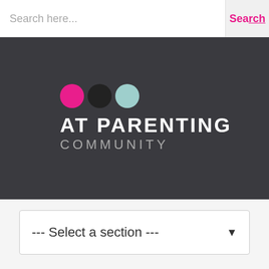Search here...  Search
[Figure (logo): AT Parenting Community logo with three colored circles (pink, black, teal) above the text AT PARENTING COMMUNITY on dark background]
--- Select a section ---
Images get stuck
Forums Home › Resources Parents Recommend › Images get stuck